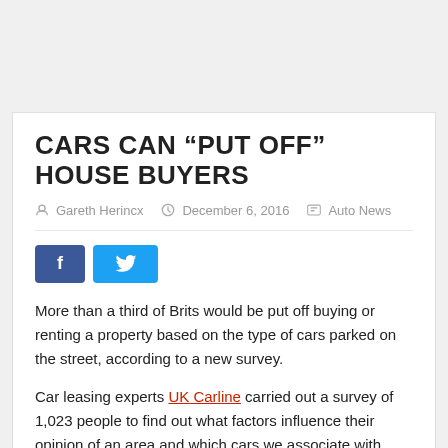CARS CAN “PUT OFF” HOUSE BUYERS
Gareth Herincx   December 6, 2016   Auto News
[Figure (other): Social sharing buttons: Facebook (f) and Twitter (bird icon)]
More than a third of Brits would be put off buying or renting a property based on the type of cars parked on the street, according to a new survey.
Car leasing experts UK Carline carried out a survey of 1,023 people to find out what factors influence their opinion of an area and which cars we associate with having good neighbours.
According to the poll, Mercedes-Benz owners make the best neighbours, with 43% saying they would associate the manufacturer with good neighbours.